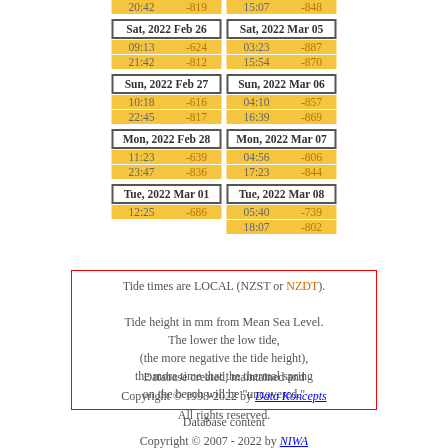| Date/Time | Height |
| --- | --- |
| 20:42 | -819 |
| Sat, 2022 Feb 26 |  |
| 09:13 | -624 |
| 21:42 | -812 |
| Sun, 2022 Feb 27 |  |
| 10:18 | -616 |
| 22:45 | -817 |
| Mon, 2022 Feb 28 |  |
| 11:23 | -639 |
| 23:47 | -836 |
| Tue, 2022 Mar 01 |  |
| 12:25 | -686 |
| Date/Time | Height |
| --- | --- |
| 15:07 | -848 |
| Sat, 2022 Mar 05 |  |
| 03:23 | -887 |
| 15:54 | -870 |
| Sun, 2022 Mar 06 |  |
| 04:10 | -857 |
| 16:39 | -869 |
| Mon, 2022 Mar 07 |  |
| 04:56 | -806 |
| 17:23 | -844 |
| Tue, 2022 Mar 08 |  |
| 05:40 | -739 |
| 18:07 | -802 |
Tide times are LOCAL (NZST or NZDT). Tide height in mm from Mean Sea Level. The lower the low tide, (the more negative the tide height), the more time that the thermal spring on the beach will be "uncovered."
Database created, maintained and Copyright © 1998-2022 by Data Koncepts All rights reserved.
Database content Copyright © 2007 - 2022 by NIWA All rights reserved.
Printable tide data for this month.
Get more Hot Water Beach info.